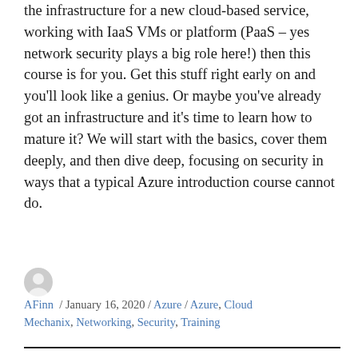the infrastructure for a new cloud‑based service, working with IaaS VMs or platform (PaaS – yes network security plays a big role here!) then this course is for you. Get this stuff right early on and you'll look like a genius. Or maybe you've already got an infrastructure and it's time to learn how to mature it? We will start with the basics, cover them deeply, and then dive deep, focusing on security in ways that a typical Azure introduction course cannot do.
AFinn / January 16, 2020 / Azure / Azure, Cloud Mechanix, Networking, Security, Training